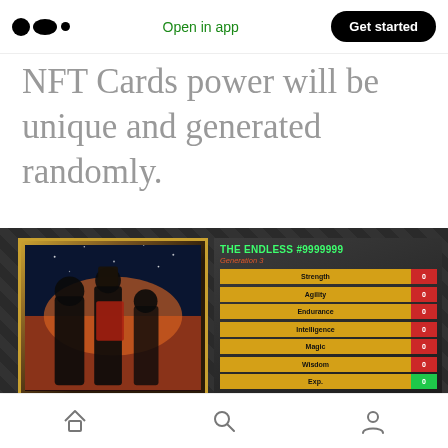Open in app | Get started
NFT Cards power will be unique and generated randomly.
[Figure (illustration): NFT card showing 'THE ENDLESS #9999999', Generation 3, with stats: Strength 0, Agility 0, Endurance 0, Intelligence 0, Magic 0, Wisdom 0, Exp. 0. Left side shows anime-style artwork with characters against a dramatic sky.]
Home | Search | Profile